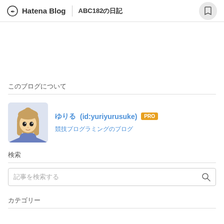Hatena Blog | ABC182（日記）
このブログについて
[Figure (illustration): Anime-style avatar of a girl with long brown hair]
ゆりる (id:yuriyurusuke) PRO
競技プログラミングのブログ
検索
記事を検索する
カテゴリー